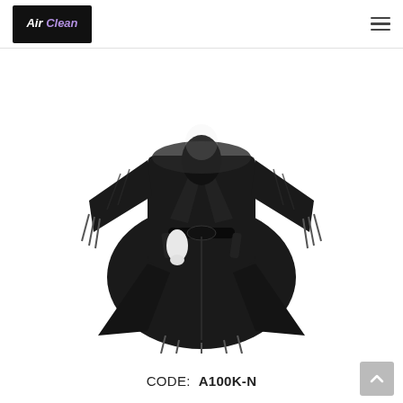Air Clean
[Figure (illustration): A black kimono-style salon robe/cape displayed on a mannequin, with wide sleeves, a waist tie, and fringe details at the sleeves and hem.]
CODE:  A100K-N